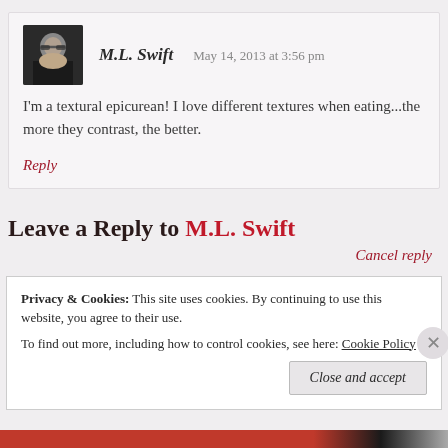[Figure (photo): Avatar photo of M.L. Swift - a man with glasses]
M.L. Swift   May 14, 2013 at 3:56 pm
I'm a textural epicurean! I love different textures when eating...the more they contrast, the better.
Reply
Leave a Reply to M.L. Swift
Cancel reply
Privacy & Cookies: This site uses cookies. By continuing to use this website, you agree to their use. To find out more, including how to control cookies, see here: Cookie Policy
Close and accept